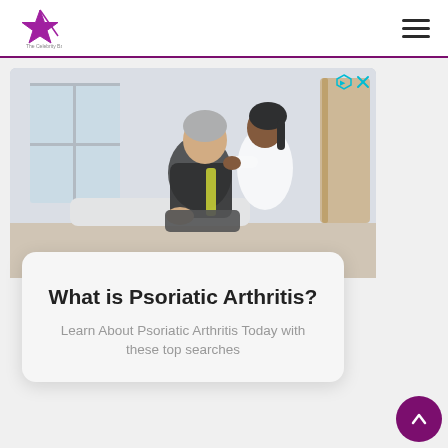[Figure (photo): Healthcare professional (woman in white vest) performing physical therapy on a middle-aged man wearing a dark athletic shirt, in a clinical/home setting with a window and wooden rack in background]
What is Psoriatic Arthritis?
Learn About Psoriatic Arthritis Today with these top searches